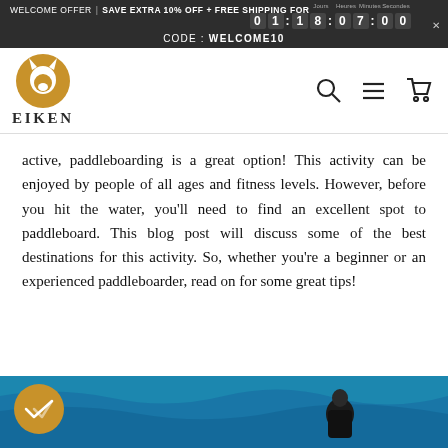WELCOME OFFER | SAVE EXTRA 10% OFF + FREE SHIPPING FOR 01:18:07:00 CODE: WELCOME10
[Figure (logo): Eiken brand logo - golden circle with white fox/wolf head silhouette above text EIKEN]
active, paddleboarding is a great option! This activity can be enjoyed by people of all ages and fitness levels. However, before you hit the water, you'll need to find an excellent spot to paddleboard. This blog post will discuss some of the best destinations for this activity. So, whether you're a beginner or an experienced paddleboarder, read on for some great tips!
[Figure (photo): Person in wetsuit paddleboarding on blue ocean water, with golden check-mark badge overlay in bottom left corner]